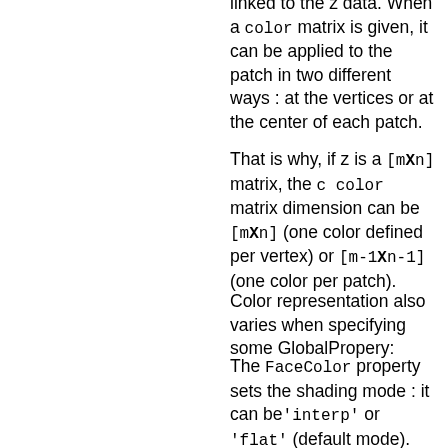linked to the z data. When a color matrix is given, it can be applied to the patch in two different ways : at the vertices or at the center of each patch.
That is why, if z is a [mXn] matrix, the c color matrix dimension can be [mXn] (one color defined per vertex) or [m-1Xn-1] (one color per patch).
Color representation also varies when specifying some GlobalPropery:
The FaceColor property sets the shading mode : it can be 'interp' or 'flat' (default mode). When 'interp' is selected, we perform a bilinear color interpolation onto the patch.